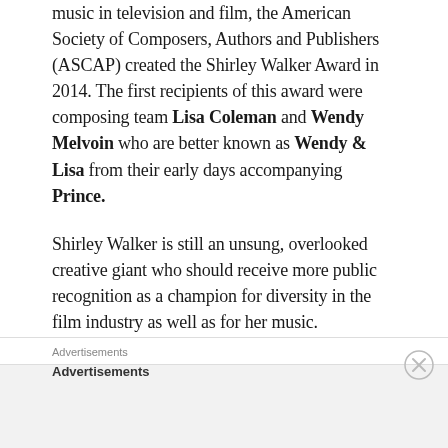music in television and film, the American Society of Composers, Authors and Publishers (ASCAP) created the Shirley Walker Award in 2014. The first recipients of this award were composing team Lisa Coleman and Wendy Melvoin who are better known as Wendy & Lisa from their early days accompanying Prince.
Shirley Walker is still an unsung, overlooked creative giant who should receive more public recognition as a champion for diversity in the film industry as well as for her music.
Advertisements